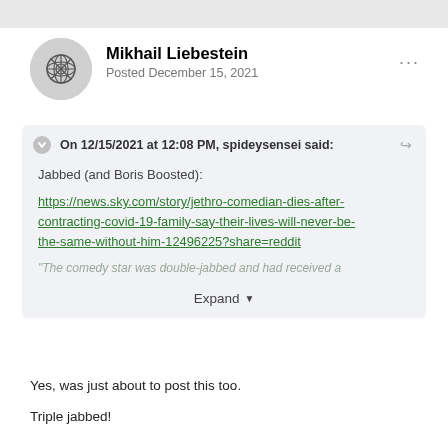Mikhail Liebestein
Posted December 15, 2021
On 12/15/2021 at 12:08 PM, spideysensei said:
Jabbed (and Boris Boosted):
https://news.sky.com/story/jethro-comedian-dies-after-contracting-covid-19-family-say-their-lives-will-never-be-the-same-without-him-12496225?share=reddit
"The comedy star was double-jabbed and had received a
Expand
Yes, was just about to post this too.
Triple jabbed!